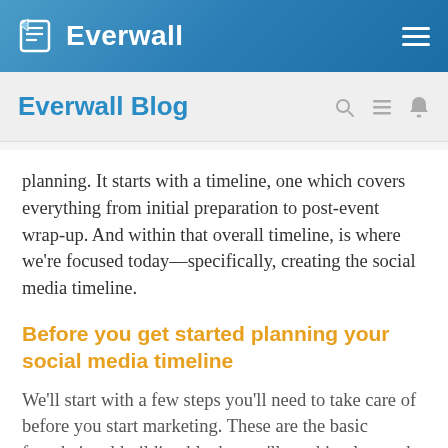Everwall
Everwall Blog
planning. It starts with a timeline, one which covers everything from initial preparation to post-event wrap-up. And within that overall timeline, is where we're focused today—specifically, creating the social media timeline.
Before you get started planning your social media timeline
We'll start with a few steps you'll need to take care of before you start marketing. These are the basic foundational building blocks you'll need in place to be